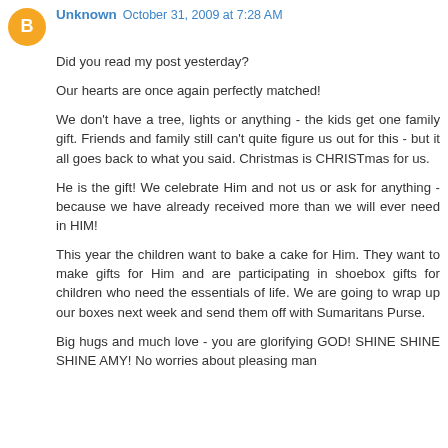Unknown  October 31, 2009 at 7:28 AM
Did you read my post yesterday?
Our hearts are once again perfectly matched!
We don't have a tree, lights or anything - the kids get one family gift. Friends and family still can't quite figure us out for this - but it all goes back to what you said. Christmas is CHRISTmas for us.
He is the gift! We celebrate Him and not us or ask for anything - because we have already received more than we will ever need in HIM!
This year the children want to bake a cake for Him. They want to make gifts for Him and are participating in shoebox gifts for children who need the essentials of life. We are going to wrap up our boxes next week and send them off with Sumaritans Purse.
Big hugs and much love - you are glorifying GOD! SHINE SHINE SHINE AMY! No worries about pleasing man